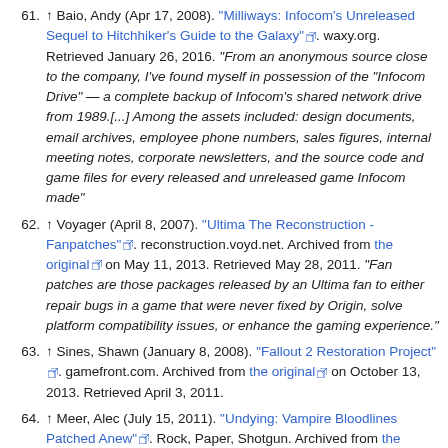61. ↑ Baio, Andy (Apr 17, 2008). "Milliways: Infocom's Unreleased Sequel to Hitchhiker's Guide to the Galaxy". waxy.org. Retrieved January 26, 2016. "From an anonymous source close to the company, I've found myself in possession of the "Infocom Drive" — a complete backup of Infocom's shared network drive from 1989.[...] Among the assets included: design documents, email archives, employee phone numbers, sales figures, internal meeting notes, corporate newsletters, and the source code and game files for every released and unreleased game Infocom made"
62. ↑ Voyager (April 8, 2007). "Ultima The Reconstruction - Fanpatches". reconstruction.voyd.net. Archived from the original on May 11, 2013. Retrieved May 28, 2011. "Fan patches are those packages released by an Ultima fan to either repair bugs in a game that were never fixed by Origin, solve platform compatibility issues, or enhance the gaming experience."
63. ↑ Sines, Shawn (January 8, 2008). "Fallout 2 Restoration Project". gamefront.com. Archived from the original on October 13, 2013. Retrieved April 3, 2011.
64. ↑ Meer, Alec (July 15, 2011). "Undying: Vampire Bloodlines Patched Anew". Rock, Paper, Shotgun. Archived from the original on May 10, 2014. Retrieved August 2, 2011. "Bloodlines [...] was essentially abandoned by its publisher after its developer closed a